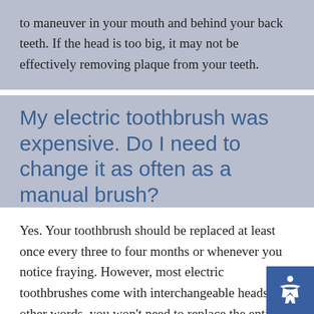to maneuver in your mouth and behind your back teeth. If the head is too big, it may not be effectively removing plaque from your teeth.
My electric toothbrush was expensive. Do I need to change it as often as a manual brush?
Yes. Your toothbrush should be replaced at least once every three to four months or whenever you notice fraying. However, most electric toothbrushes come with interchangeable heads. In other words, you won't need to replace the entire device – only the brush itself.